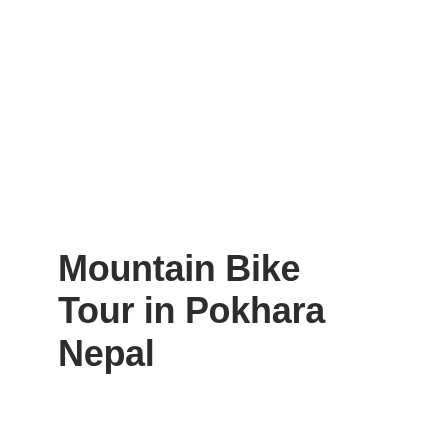Mountain Bike Tour in Pokhara Nepal